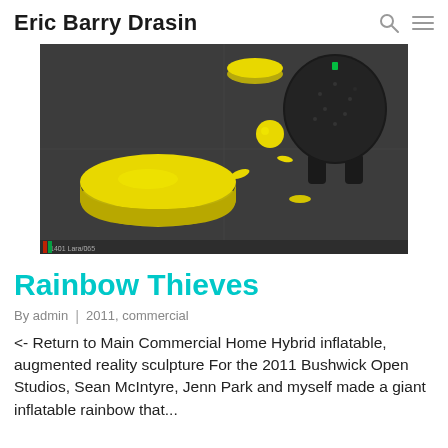Eric Barry Drasin
[Figure (screenshot): 3D rendering viewport showing yellow geometric shapes including a large coin/disc and spherical forms against a dark gray background]
Rainbow Thieves
By admin  |  2011, commercial
<- Return to Main Commercial Home Hybrid inflatable, augmented reality sculpture For the 2011 Bushwick Open Studios, Sean McIntyre, Jenn Park and myself made a giant inflatable rainbow that...